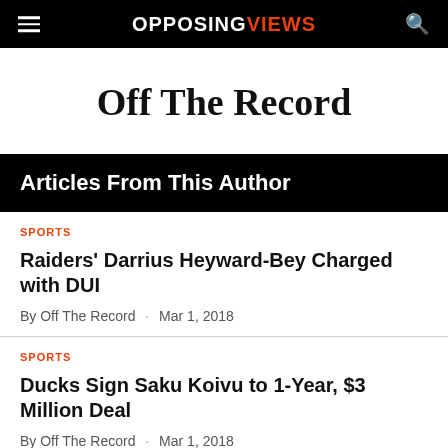OPPOSING VIEWS
Off The Record
Articles From This Author
SPORTS
Raiders' Darrius Heyward-Bey Charged with DUI
By Off The Record · Mar 1, 2018
SPORTS
Ducks Sign Saku Koivu to 1-Year, $3 Million Deal
By Off The Record · Mar 1, 2018